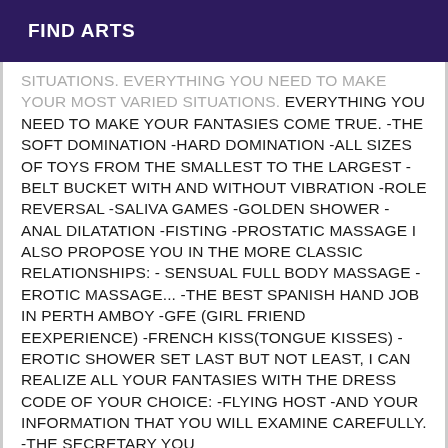FIND ARTS
SITUATIONS. EVERYTHING YOU NEED TO MAKE YOUR FANTASIES COME TRUE. -THE SOFT DOMINATION -HARD DOMINATION -ALL SIZES OF TOYS FROM THE SMALLEST TO THE LARGEST -BELT BUCKET WITH AND WITHOUT VIBRATION -ROLE REVERSAL -SALIVA GAMES -GOLDEN SHOWER -ANAL DILATATION -FISTING -PROSTATIC MASSAGE I ALSO PROPOSE YOU IN THE MORE CLASSIC RELATIONSHIPS: - SENSUAL FULL BODY MASSAGE - EROTIC MASSAGE... -THE BEST SPANISH HAND JOB IN PERTH AMBOY -GFE (GIRL FRIEND EEXPERIENCE) -FRENCH KISS(TONGUE KISSES) -EROTIC SHOWER SET LAST BUT NOT LEAST, I CAN REALIZE ALL YOUR FANTASIES WITH THE DRESS CODE OF YOUR CHOICE: -FLYING HOST -AND YOUR INFORMATION THAT YOU WILL EXAMINE CAREFULLY. -THE SECRETARY YOU